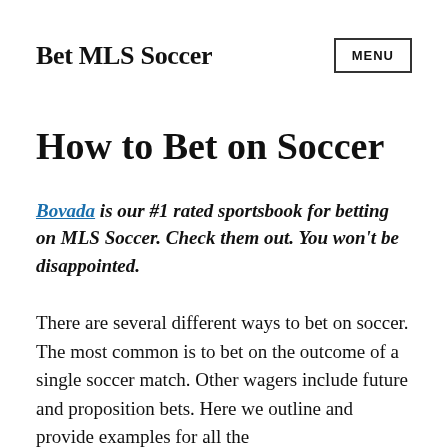Bet MLS Soccer
How to Bet on Soccer
Bovada is our #1 rated sportsbook for betting on MLS Soccer. Check them out. You won’t be disappointed.
There are several different ways to bet on soccer. The most common is to bet on the outcome of a single soccer match. Other wagers include future and proposition bets. Here we outline and provide examples for all the